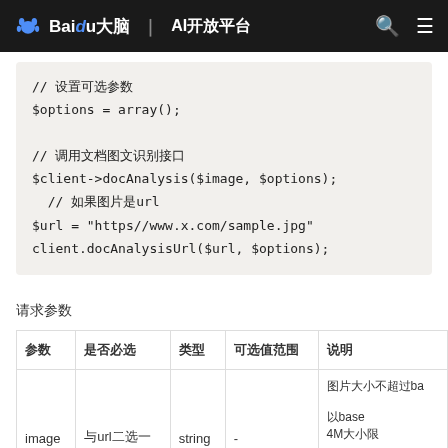Baidu 大脑 | AI开放平台
// 设置可选参数
$options = array();

// 调用文档图文识别接口
$client->docAnalysis($image, $options);
  // 如果图片是url
$url = "https//www.x.com/sample.jpg"
client.docAnalysisUrl($url, $options);
请求参数
| 参数 | 是否必选 | 类型 | 可选值范围 | 说明 |
| --- | --- | --- | --- | --- |
| image | 与url二选一 | string | - | 图片大小不超过base64编码后4M大小限制 |